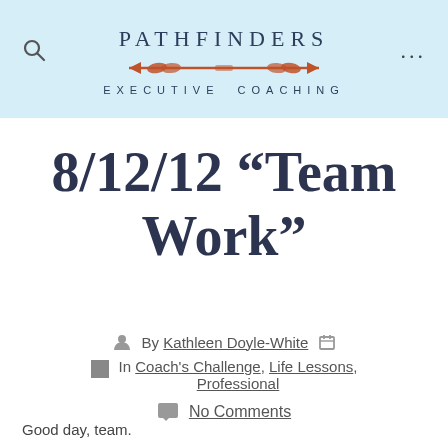[Figure (logo): Pathfinders Executive Coaching logo with decorative arrow in orange/red, text PATHFINDERS above and EXECUTIVE COACHING below]
8/12/12 “Team Work”
By Kathleen Doyle-White
In Coach’s Challenge, Life Lessons, Professional
No Comments
Good day, team.